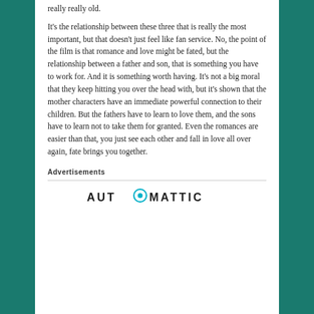really really old.
It's the relationship between these three that is really the most important, but that doesn't just feel like fan service. No, the point of the film is that romance and love might be fated, but the relationship between a father and son, that is something you have to work for. And it is something worth having. It's not a big moral that they keep hitting you over the head with, but it's shown that the mother characters have an immediate powerful connection to their children. But the fathers have to learn to love them, and the sons have to learn not to take them for granted. Even the romances are easier than that, you just see each other and fall in love all over again, fate brings you together.
Advertisements
[Figure (logo): Automattic logo with circular icon replacing the letter O in AUTOMATTIC]